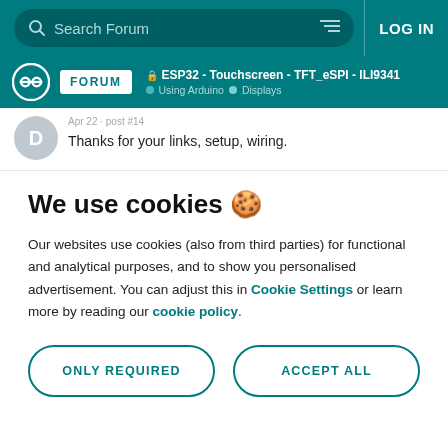Search Forum | LOG IN
ESP32 - Touchscreen - TFT_eSPI - ILI9341 | Using Arduino | Displays
Thanks for your links, setup, wiring.
We use cookies 🍪
Our websites use cookies (also from third parties) for functional and analytical purposes, and to show you personalised advertisement. You can adjust this in Cookie Settings or learn more by reading our cookie policy.
ONLY REQUIRED
ACCEPT ALL